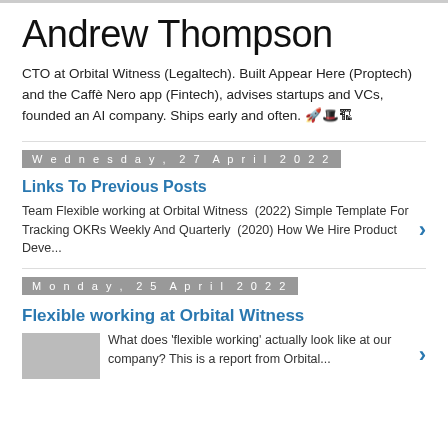Andrew Thompson
CTO at Orbital Witness (Legaltech). Built Appear Here (Proptech) and the Caffè Nero app (Fintech), advises startups and VCs, founded an AI company. Ships early and often. 🚀🎩🏗️
Wednesday, 27 April 2022
Links To Previous Posts
Team Flexible working at Orbital Witness  (2022) Simple Template For Tracking OKRs Weekly And Quarterly  (2020) How We Hire Product Deve...
Monday, 25 April 2022
Flexible working at Orbital Witness
What does 'flexible working' actually look like at our company? This is a report from Orbital...